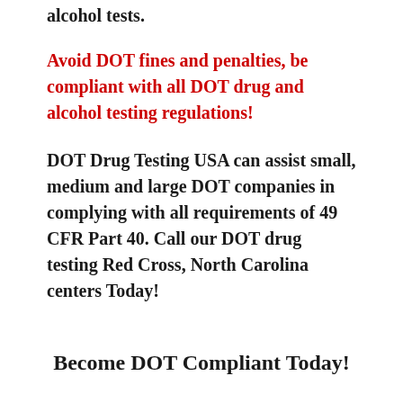alcohol tests.
Avoid DOT fines and penalties, be compliant with all DOT drug and alcohol testing regulations!
DOT Drug Testing USA can assist small, medium and large DOT companies in complying with all requirements of 49 CFR Part 40. Call our DOT drug testing Red Cross, North Carolina centers Today!
Become DOT Compliant Today!
DOT Drug Testing USA